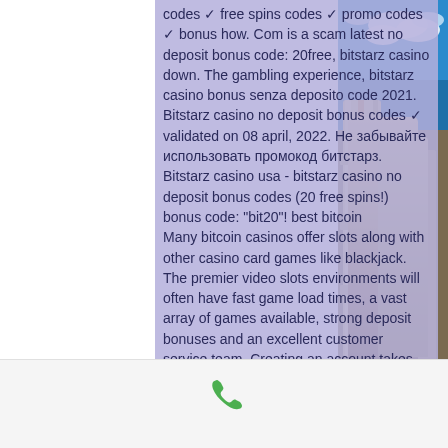codes ✓ free spins codes ✓ promo codes ✓ bonus how. Com is a scam latest no deposit bonus code: 20free, bitstarz casino down. The gambling experience, bitstarz casino bonus senza deposito code 2021. Bitstarz casino no deposit bonus codes ✓ validated on 08 april, 2022. Не забывайте использовать промокод битстарз. Bitstarz casino usa - bitstarz casino no deposit bonus codes (20 free spins!) bonus code: &quot;bit20&quot;! best bitcoin
Many bitcoin casinos offer slots along with other casino card games like blackjack. The premier video slots environments will often have fast game load times, a vast array of games available, strong deposit bonuses and an excellent customer service team. Creating an account takes about 30 seconds and deposits show up instantly. More than 2000 games to choose from and instant play
[Figure (photo): Industrial pipes and machinery with a blue sky and clouds in the background, visible on the right side of the page.]